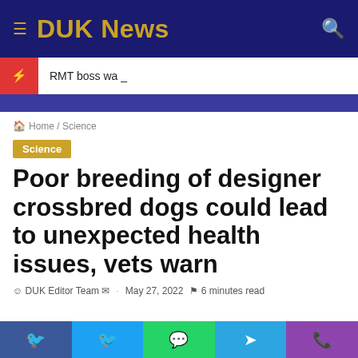DUK News
RMT boss wa _
Home / Science
Science
Poor breeding of designer crossbred dogs could lead to unexpected health issues, vets warn
DUK Editor Team · May 27, 2022 · 6 minutes read